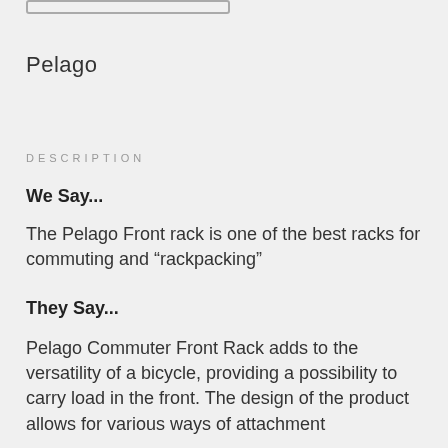Pelago
DESCRIPTION
We Say...
The Pelago Front rack is one of the best racks for commuting and “rackpacking”
They Say...
Pelago Commuter Front Rack adds to the versatility of a bicycle, providing a possibility to carry load in the front. The design of the product allows for various ways of attachment